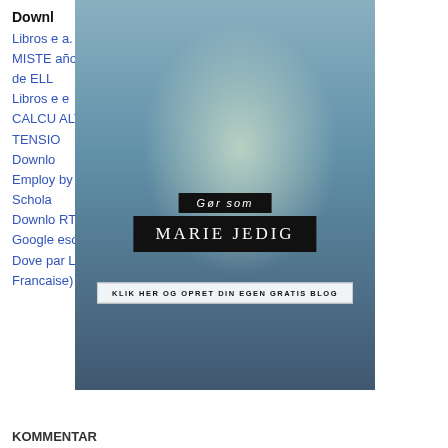Downl
Libros e ... a. LOS MISTER ... añola) de ELL ...
Libros e ... e CALCU ... ALTA TENSIO ...
Downlo ... Employ ... by Schola ...
Downlo ... RTF Google ... esome Dove par Larry McMurtry 9782351781500 (Litterature Francaise)
[Figure (photo): Advertisement overlay showing a young blonde woman in a mint green knit sweater standing at a train station. Black banner overlays read 'Gør som', 'MARIE JEDIG', and 'KLIK HER OG OPRET DIN EGEN GRATIS BLOG']
KOMMENTAR